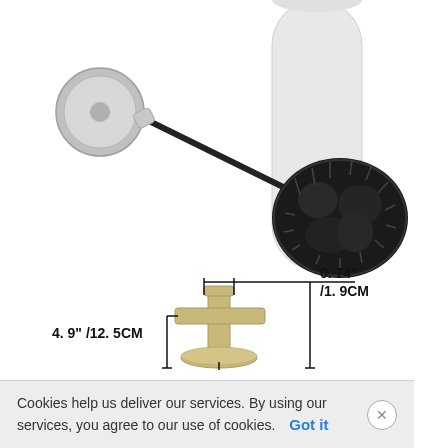[Figure (photo): Top: toilet brush with black bristles and chrome/metal handle resting against a white cylindrical holder. Bottom: engineering-style dimension diagram of a metal post/stand component (champagne/gold color) showing measurements: 0.74 inches / 1.9CM (top width) and 4.9 inches / 12.5CM (height). Vertical and horizontal measurement lines with tick marks are shown.]
Cookies help us deliver our services. By using our services, you agree to our use of cookies.   Got it